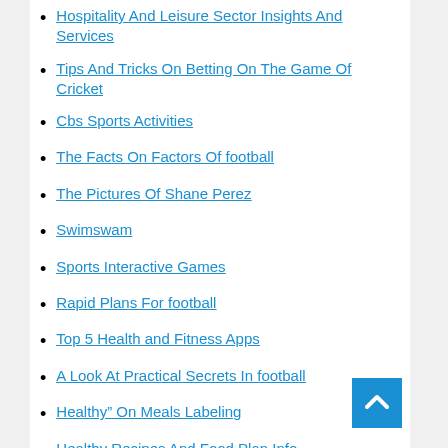Hospitality And Leisure Sector Insights And Services
Tips And Tricks On Betting On The Game Of Cricket
Cbs Sports Activities
The Facts On Factors Of football
The Pictures Of Shane Perez
Swimswam
Sports Interactive Games
Rapid Plans For football
Top 5 Health and Fitness Apps
A Look At Practical Secrets In football
Healthy” On Meals Labeling
Healthy Recipes And Food Plan Info